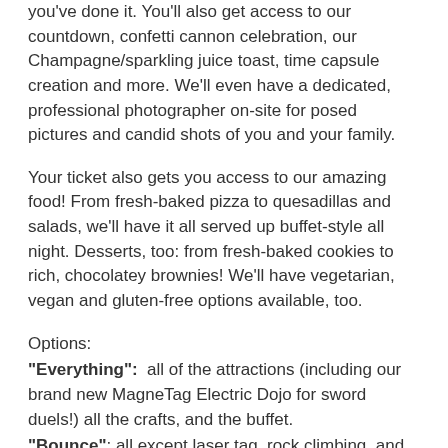you've done it. You'll also get access to our countdown, confetti cannon celebration, our Champagne/sparkling juice toast, time capsule creation and more. We'll even have a dedicated, professional photographer on-site for posed pictures and candid shots of you and your family.
Your ticket also gets you access to our amazing food! From fresh-baked pizza to quesadillas and salads, we'll have it all served up buffet-style all night. Desserts, too: from fresh-baked cookies to rich, chocolatey brownies! We'll have vegetarian, vegan and gluten-free options available, too.
Options:
"Everything": all of the attractions (including our brand new MagneTag Electric Dojo for sword duels!) all the crafts, and the buffet.
"Bounce": all except laser tag, rock climbing, and MagneTag. Also includes the crafts and buffet.
"Guest": access to the arcade games, pinball, crafts, and the buffet.
We recommend "Everything" tickets for most kids and adults